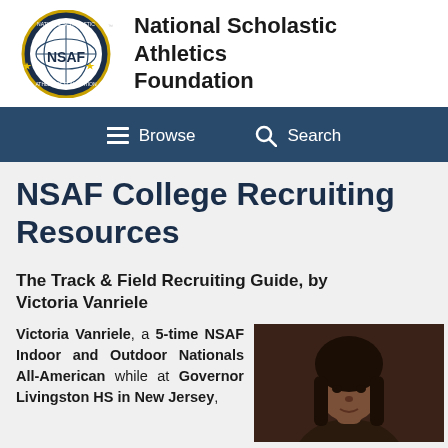National Scholastic Athletics Foundation
NSAF College Recruiting Resources
The Track & Field Recruiting Guide, by Victoria Vanriele
Victoria Vanriele, a 5-time NSAF Indoor and Outdoor Nationals All-American while at Governor Livingston HS in New Jersey,
[Figure (photo): Portrait photo of Victoria Vanriele, a young woman with braided hair against a dark studio background]